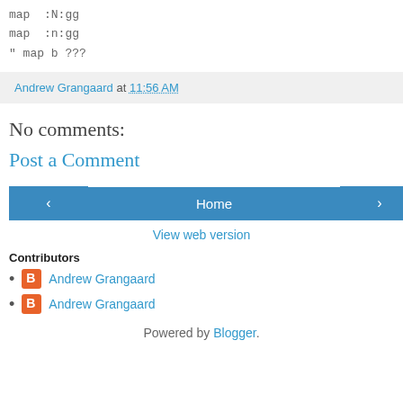map  :N:gg
map  :n:gg
" map b ???
Andrew Grangaard at 11:56 AM
No comments:
Post a Comment
‹  Home  ›  View web version
Contributors
Andrew Grangaard
Andrew Grangaard
Powered by Blogger.